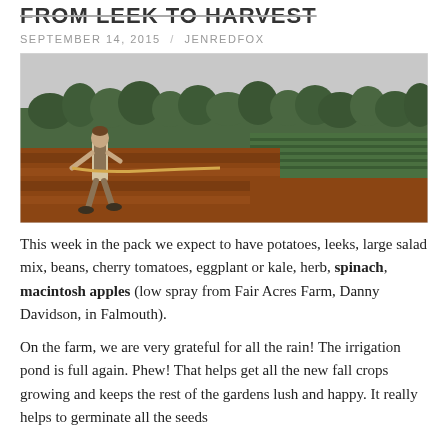FROM LEEK TO HARVEST
SEPTEMBER 14, 2015 / JENREDFOX
[Figure (photo): A man in overalls and rubber boots pulling a rope across a freshly tilled red soil field, with rows of green crops and a treeline in the background.]
This week in the pack we expect to have potatoes, leeks, large salad mix, beans, cherry tomatoes, eggplant or kale, herb, spinach, macintosh apples (low spray from Fair Acres Farm, Danny Davidson, in Falmouth).
On the farm, we are very grateful for all the rain!  The irrigation pond is full again.  Phew!  That helps get all the new fall crops growing and keeps the rest of the gardens lush and happy.  It really helps to germinate all the seeds